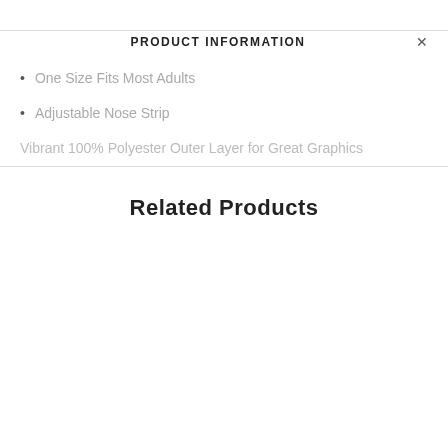PRODUCT INFORMATION
One Size Fits Most Adults
Adjustable Nose Strip
Vibrant 100% Polyester Outer Layer for Great Graphics
Related Products